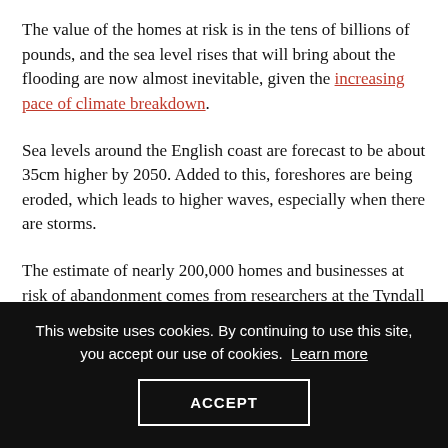The value of the homes at risk is in the tens of billions of pounds, and the sea level rises that will bring about the flooding are now almost inevitable, given the increasing pace of climate breakdown.
Sea levels around the English coast are forecast to be about 35cm higher by 2050. Added to this, foreshores are being eroded, which leads to higher waves, especially when there are storms.
The estimate of nearly 200,000 homes and businesses at risk of abandonment comes from researchers at the Tyndall Centre, in the University of East Anglia, published in the peer review...
This website uses cookies. By continuing to use this site, you accept our use of cookies. Learn more
ACCEPT